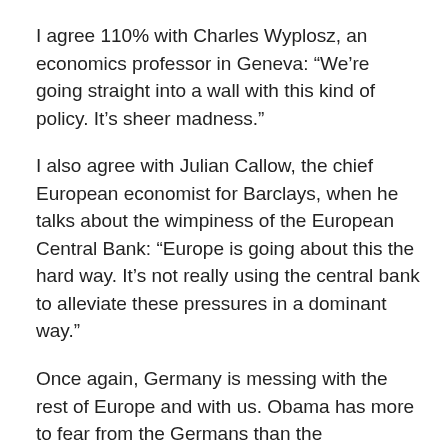I agree 110% with Charles Wyplosz, an economics professor in Geneva: “We’re going straight into a wall with this kind of policy. It’s sheer madness.”
I also agree with Julian Callow, the chief European economist for Barclays, when he talks about the wimpiness of the European Central Bank: “Europe is going about this the hard way. It’s not really using the central bank to alleviate these pressures in a dominant way.”
Once again, Germany is messing with the rest of Europe and with us. Obama has more to fear from the Germans than the Republicans.
*See “Austerity Reigns Over Euro Zone As Crisis Deepens,” by Nelson D. Schwartz, NYT